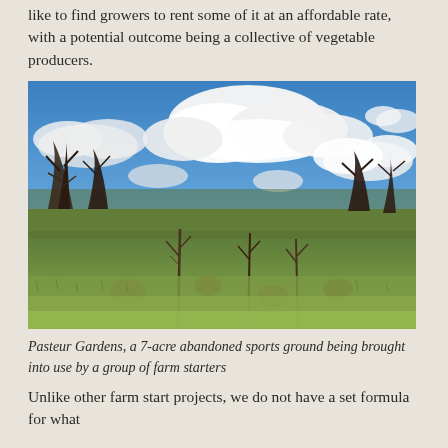like to find growers to rent some of it at an affordable rate, with a potential outcome being a collective of vegetable producers.
[Figure (photo): Outdoor landscape photograph showing an open field with scrubby grass and sparse young trees in the foreground, with bare-branched trees in the middle ground and a blue sky with large white cumulus clouds above.]
Pasteur Gardens, a 7-acre abandoned sports ground being brought into use by a group of farm starters
Unlike other farm start projects, we do not have a set formula for what